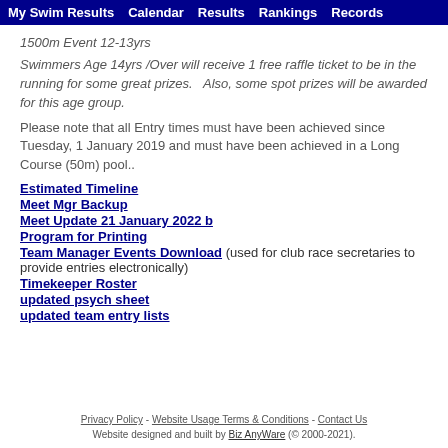My Swim Results  Calendar  Results  Rankings  Records
1500m Event 12-13yrs
Swimmers Age 14yrs /Over will receive 1 free raffle ticket to be in the running for some great prizes.   Also, some spot prizes will be awarded for this age group.
Please note that all Entry times must have been achieved since Tuesday, 1 January 2019 and must have been achieved in a Long Course (50m) pool..
Estimated Timeline
Meet Mgr Backup
Meet Update 21 January 2022 b
Program for Printing
Team Manager Events Download (used for club race secretaries to provide entries electronically)
Timekeeper Roster
updated psych sheet
updated team entry lists
Privacy Policy - Website Usage Terms & Conditions - Contact Us
Website designed and built by Biz AnyWare (© 2000-2021).